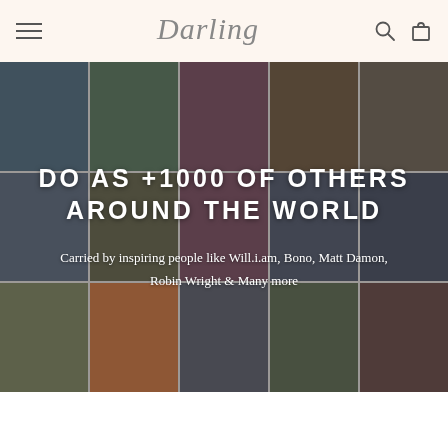Darling — navigation header with hamburger menu, logo, search and cart icons
[Figure (photo): Collage of photos of people wearing jewelry/accessories from around the world, arranged in a 5x3 grid with a dark overlay]
DO AS +1000 OF OTHERS AROUND THE WORLD
Carried by inspiring people like Will.i.am, Bono, Matt Damon, Robin Wright & Many more